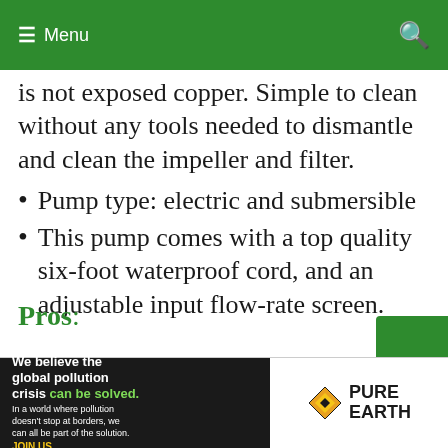Menu
is not exposed copper. Simple to clean without any tools needed to dismantle and clean the impeller and filter.
Pump type: electric and submersible
This pump comes with a top quality six-foot waterproof cord, and an adjustable input flow-rate screen.
Pros:
[Figure (infographic): Advertisement banner for Pure Earth: 'We believe the global pollution crisis can be solved.' with logo and tagline 'JOIN US.']